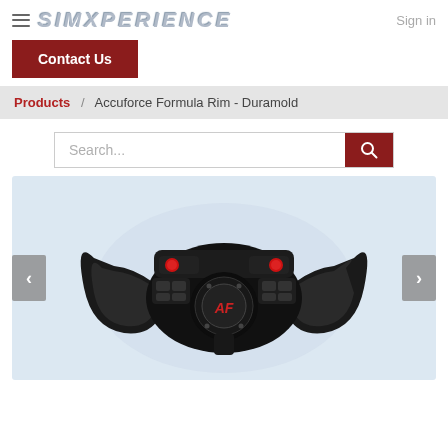SIMXPERIENCE  Sign in
Contact Us
Products / Accuforce Formula Rim - Duramold
Search...
[Figure (photo): Accuforce Formula Rim - Duramold steering wheel with dual paddle shifters and red buttons, on a light blue background, with left and right navigation arrows.]